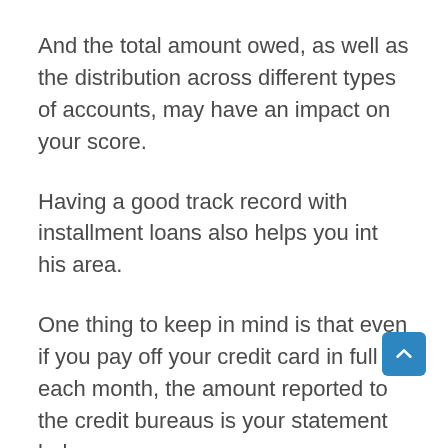And the total amount owed, as well as the distribution across different types of accounts, may have an impact on your score.
Having a good track record with installment loans also helps you int his area.
One thing to keep in mind is that even if you pay off your credit card in full each month, the amount reported to the credit bureaus is your statement balance.
I believe that last factor, along with continuing